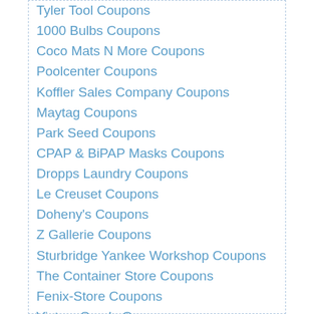Tyler Tool Coupons
1000 Bulbs Coupons
Coco Mats N More Coupons
Poolcenter Coupons
Koffler Sales Company Coupons
Maytag Coupons
Park Seed Coupons
CPAP & BiPAP Masks Coupons
Dropps Laundry Coupons
Le Creuset Coupons
Doheny's Coupons
Z Gallerie Coupons
Sturbridge Yankee Workshop Coupons
The Container Store Coupons
Fenix-Store Coupons
Victory Seeds Coupons
Pulls Direct Coupons